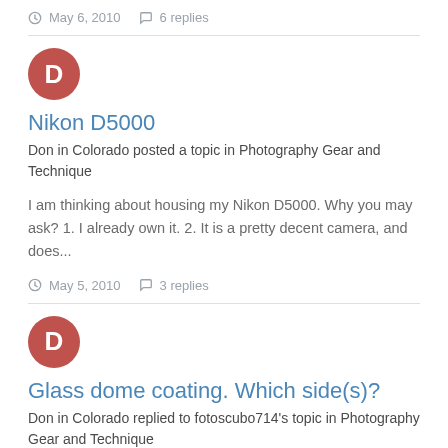May 6, 2010   6 replies
[Figure (illustration): Red circle avatar with white letter D]
Nikon D5000
Don in Colorado posted a topic in Photography Gear and Technique
I am thinking about housing my Nikon D5000. Why you may ask? 1. I already own it. 2. It is a pretty decent camera, and does...
May 5, 2010   3 replies
[Figure (illustration): Red circle avatar with white letter D]
Glass dome coating. Which side(s)?
Don in Colorado replied to fotoscubo714's topic in Photography Gear and Technique
I am surprised that antireflective coatings do anything on the outside of a dome. I learned something here. I thought...